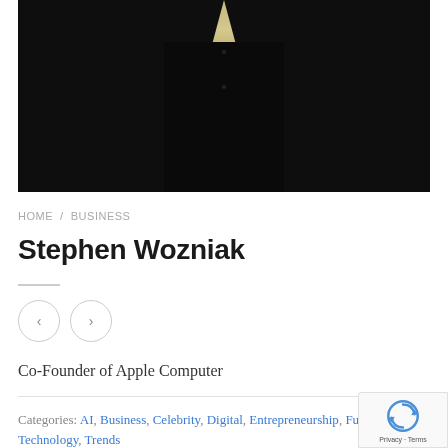[Figure (photo): Photo of Stephen Wozniak showing his torso with a dark black shirt/jacket and light yellow undershirt collar]
HOME / BUSINESS
Stephen Wozniak
Co-Founder of Apple Computer
Categories: AI, Business, Celebrity, Digital, Entrepreneurship, Fu...
Technology, Trends